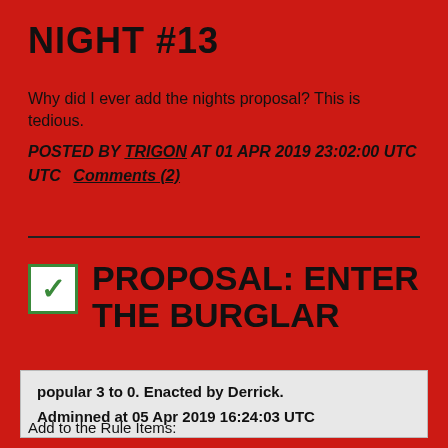NIGHT #13
Why did I ever add the nights proposal? This is tedious.
POSTED BY TRIGON AT 01 APR 2019 23:02:00 UTC   Comments (2)
PROPOSAL: ENTER THE BURGLAR
popular 3 to 0. Enacted by Derrick.
Adminned at 05 Apr 2019 16:24:03 UTC
Add to the Rule Items: